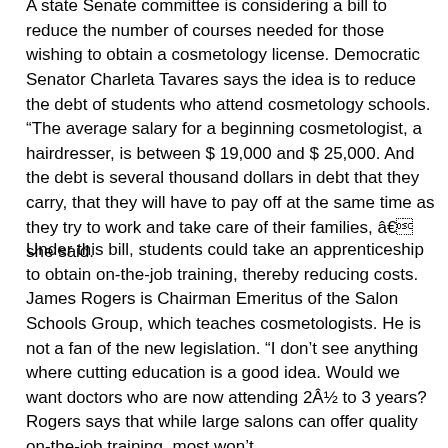A state Senate committee is considering a bill to reduce the number of courses needed for those wishing to obtain a cosmetology license. Democratic Senator Charleta Tavares says the idea is to reduce the debt of students who attend cosmetology schools. “The average salary for a beginning cosmetologist, a hairdresser, is between $ 19,000 and $ 25,000. And the debt is several thousand dollars in debt that they carry, that they will have to pay off at the same time as they try to work and take care of their families, â€ she said.
Under this bill, students could take an apprenticeship to obtain on-the-job training, thereby reducing costs. James Rogers is Chairman Emeritus of the Salon Schools Group, which teaches cosmetologists. He is not a fan of the new legislation. “I don’t see anything where cutting education is a good idea. Would we want doctors who are now attending 2Â½ to 3 years? Rogers says that while large salons can offer quality on-the-job training, most won’t.